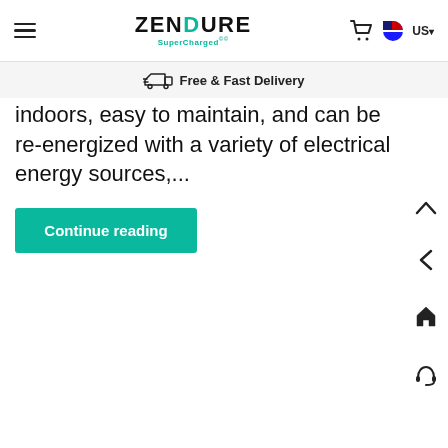ZENDURE SuperCharged | Free & Fast Delivery | US
indoors, easy to maintain, and can be re-energized with a variety of electrical energy sources,...
Continue reading